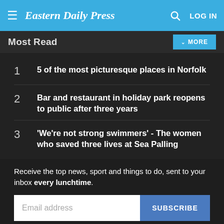Eastern Daily Press
Most Read
1  5 of the most picturesque places in Norfolk
2  Bar and restaurant in holiday park reopens to public after three years
3  'We're not strong swimmers' - The women who saved three lives at Sea Palling
Receive the top news, sport and things to do, sent to your inbox every lunchtime.
Email address
SUBSCRIBE
Our Privacy Policy